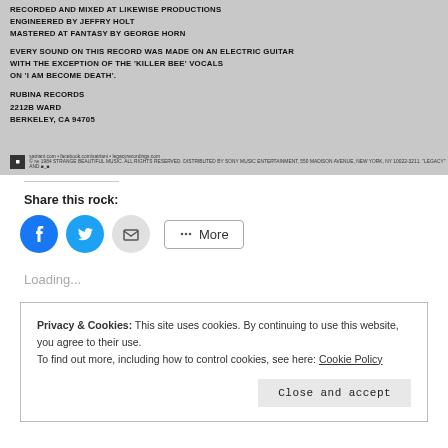[Figure (photo): Photograph of album liner notes on grey background showing production credits for a music record, with logo and website URLs at the bottom.]
Share this rock:
[Figure (infographic): Social sharing buttons: Facebook (blue circle), Twitter (blue circle), Email (grey circle), and a More button with share icon.]
Loading...
Privacy & Cookies: This site uses cookies. By continuing to use this website, you agree to their use.
To find out more, including how to control cookies, see here: Cookie Policy
Close and accept